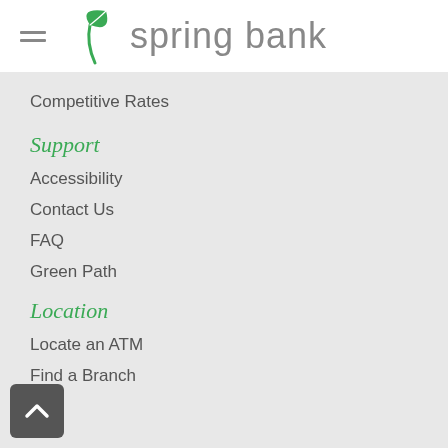spring bank
Competitive Rates
Support
Accessibility
Contact Us
FAQ
Green Path
Location
Locate an ATM
Find a Branch